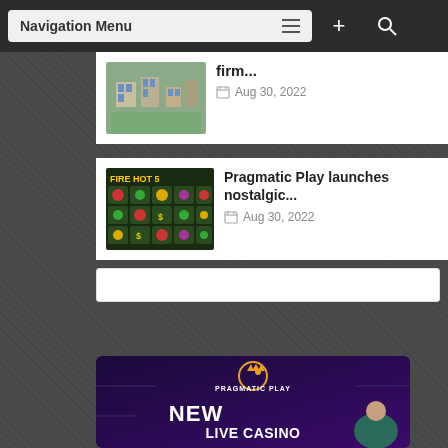Navigation Menu
[Figure (screenshot): Thumbnail image of a town/city aerial view]
firm...
Aug 30, 2022
[Figure (screenshot): Fire Hot 5 slot game thumbnail with fruits and dollar symbols]
Pragmatic Play launches nostalgic...
Aug 30, 2022
[Figure (screenshot): Pragmatic Play New Live Casino Game banner with purple background and dealer]